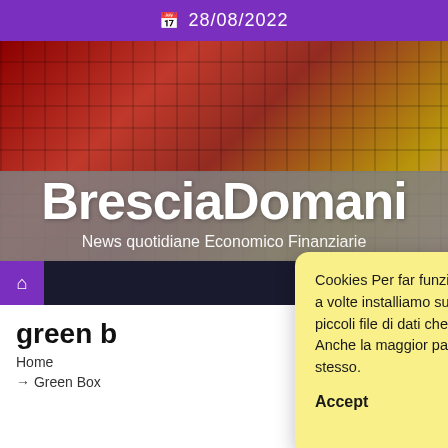📅 28/08/2022
[Figure (screenshot): BresciaDomani website header banner with red/orange mosaic background and site logo]
BresciaDomani
News quotidiane Economico Finanziarie
[Figure (screenshot): Navigation bar with purple home icon button]
green b
Home
→ Green Box
Cookies Per far funzionare bene questo sito, a volte installiamo sul tuo dispositivo dei piccoli file di dati che si chiamano "cookies". Anche la maggior parte dei grandi siti fanno lo stesso.
Accept
Read more
Change Settings